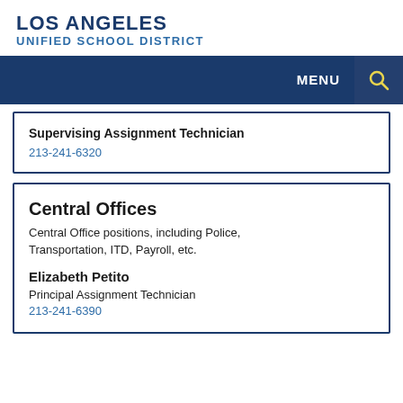LOS ANGELES
UNIFIED SCHOOL DISTRICT
Supervising Assignment Technician
213-241-6320
Central Offices
Central Office positions, including Police, Transportation, ITD, Payroll, etc.

Elizabeth Petito
Principal Assignment Technician
213-241-6390